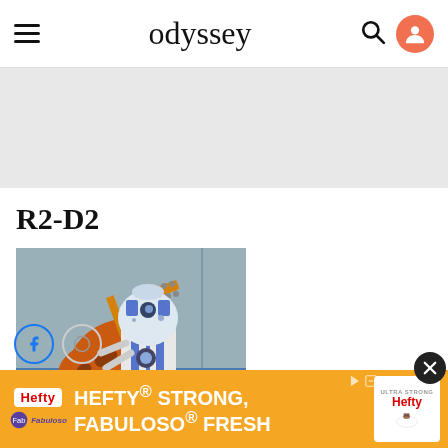odyssey
[Figure (other): Gray advertisement placeholder box]
R2-D2
[Figure (illustration): Cartoon illustration of R2-D2 from Star Wars playing an orange electric guitar, rendered in a Simpsons animation style]
[Figure (other): Hefty STRONG FABULOSO FRESH advertisement banner at the bottom of the page with orange background, Hefty and Fabuloso logos]
[Figure (other): Social sharing buttons: Facebook (blue circle) and another social button]